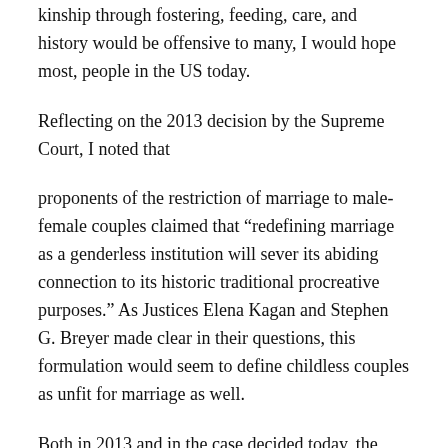kinship through fostering, feeding, care, and history would be offensive to many, I would hope most, people in the US today.
Reflecting on the 2013 decision by the Supreme Court, I noted that
proponents of the restriction of marriage to male-female couples claimed that “redefining marriage as a genderless institution will sever its abiding connection to its historic traditional procreative purposes.” As Justices Elena Kagan and Stephen G. Breyer made clear in their questions, this formulation would seem to define childless couples as unfit for marriage as well.
Both in 2013 and in the case decided today, the Supreme Court considered arguments based on claims of historical precedent. In the 2013 decision, the majority wrote “Marriage between a man and a woman no doubt had been thought of by most people as essential to the very definition of that term and its role and function throughout